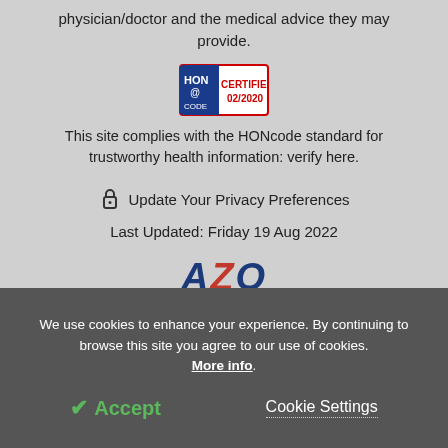physician/doctor and the medical advice they may provide.
[Figure (logo): HONcode certified badge with text CERTIFIED 02/2020]
This site complies with the HONcode standard for trustworthy health information: verify here.
🔒 Update Your Privacy Preferences
Last Updated: Friday 19 Aug 2022
[Figure (logo): AZO Network logo in red and blue italic bold text]
We use cookies to enhance your experience. By continuing to browse this site you agree to our use of cookies. More info.
✔ Accept
Cookie Settings